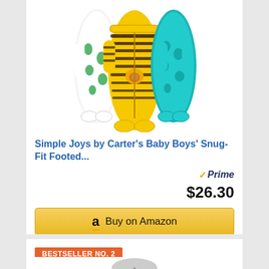[Figure (photo): Three baby footed pajama sleepers — white with green dinosaur print on left, yellow with black tiger stripes and lion patch in center, teal with animal print on right]
Simple Joys by Carter's Baby Boys' Snug-Fit Footed...
Prime
$26.30
Buy on Amazon
BESTSELLER NO. 2
[Figure (photo): Partial view of a second baby clothing item at bottom of page]